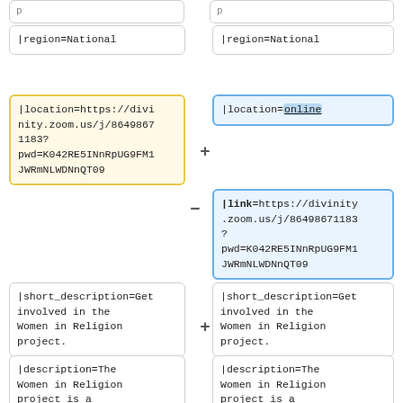|region=National
|region=National
|location=https://divinity.zoom.us/j/86498671183?
pwd=K042RE5INnRpUG9FM1JWRmNLWDNnQT09
|location=online
|link=https://divinity.zoom.us/j/86498671183?
pwd=K042RE5INnRpUG9FM1JWRmNLWDNnQT09
|short_description=Get involved in the Women in Religion project.
|short_description=Get involved in the Women in Religion project.
|description=The Women in Religion project is a
|description=The Women in Religion project is a